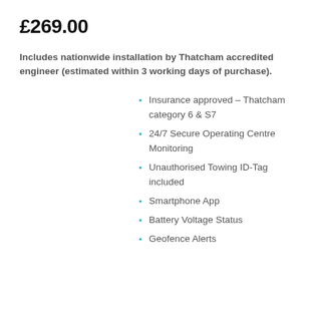£269.00
Includes nationwide installation by Thatcham accredited engineer (estimated within 3 working days of purchase).
Insurance approved – Thatcham category 6 & S7
24/7 Secure Operating Centre Monitoring
Unauthorised Towing ID-Tag included
Smartphone App
Battery Voltage Status
Geofence Alerts